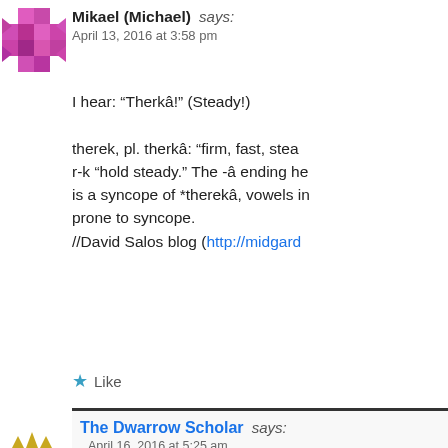[Figure (illustration): Pink/magenta avatar image for Mikael (Michael)]
Mikael (Michael) says: April 13, 2016 at 3:58 pm
I hear: “Therkâ!” (Steady!)

therek, pl. therkâ: “firm, fast, stea r-k “hold steady.” The -â ending he is a syncope of *therekâ, vowels in prone to syncope.
//David Salos blog (http://midgard
★ Like
[Figure (logo): Dwarrow Scholar logo/avatar]
The Dwarrow Scholar says: April 16, 2016 at 5:25 am
Coming back to this, I believe M is indeed correct and it is. “ther strangely enough, it should hav